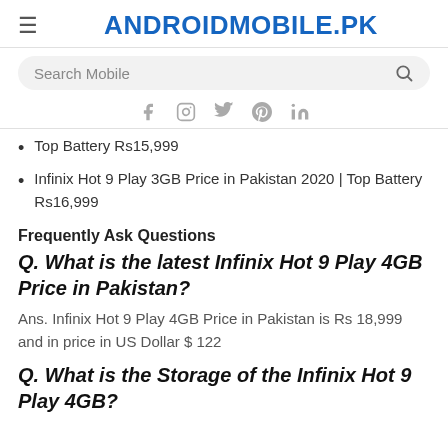ANDROIDMOBILE.PK
[Figure (screenshot): Search bar with magnifying glass icon on grey rounded background]
[Figure (infographic): Social media icons: Facebook, Instagram, Twitter, Pinterest, LinkedIn in grey]
Top Battery Rs15,999
Infinix Hot 9 Play 3GB Price in Pakistan 2020 | Top Battery Rs16,999
Frequently Ask Questions
Q. What is the latest Infinix Hot 9 Play 4GB Price in Pakistan?
Ans. Infinix Hot 9 Play 4GB Price in Pakistan is Rs 18,999 and in price in US Dollar $ 122
Q. What is the Storage of the Infinix Hot 9 Play 4GB?